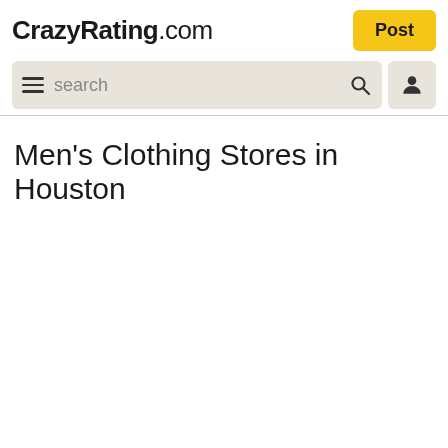CrazyRating.com
Post
[Figure (screenshot): Search bar with hamburger menu icon, search placeholder text, magnifying glass icon, and user profile icon button]
Men's Clothing Stores in Houston